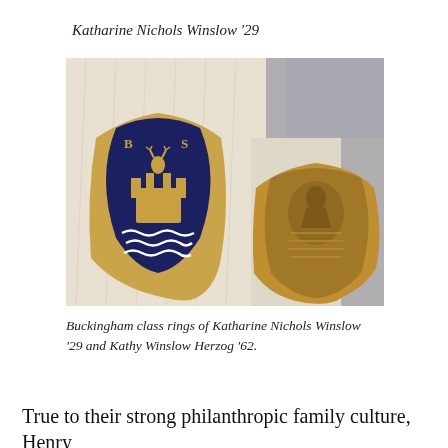Katharine Nichols Winslow '29
[Figure (photo): Two gold class rings on fabric: left ring has blue enamel shield with BYS letters and a crest, right ring is a plain gold signet ring with engraved crest.]
Buckingham class rings of Katharine Nichols Winslow '29 and Kathy Winslow Herzog '62.
True to their strong philanthropic family culture, Henry